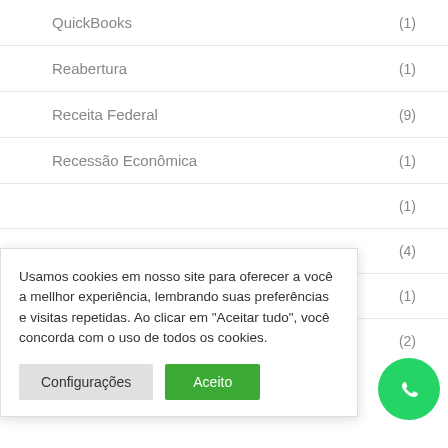QuickBooks (1)
Reabertura (1)
Receita Federal (9)
Recessão Econômica (1)
(1)
(4)
(1)
Usamos cookies em nosso site para oferecer a você a mellhor experiência, lembrando suas preferências e visitas repetidas. Ao clicar em "Aceitar tudo", você concorda com o uso de todos os cookies.
Redução De Custos (2)
[Figure (logo): WhatsApp green circular button icon]